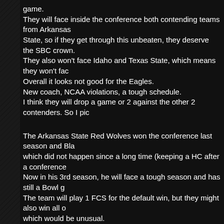game. They will face inside the conference both contending teams from Arkansas State, so if they get through this unbeaten, they deserve the SBC crown. They also won't face Idaho and Texas State, which means they won't face. Overall it looks not good for the Eagles. New coach, NCAA violations, a tough schedule. I think they will drop a game or 2 against the other 2 contenders. So I pic
The Arkansas State Red Wolves won the conference last season and Bla which did not happen since a long time (keeping a HC after a conference. Now in his 3rd season, he will face a tough season and has still a Bowl g The team will play 1 FCS for the default win, but they might also win all o which would be unusual. Inside the conference they do not play Appalachian State and Idaho, whi since they avoid a contender, but on the other hand they miss a game ag low level team, making the overall schedule a bit tougher than the Mount As compensation they will face Georgia Southern as another contending October, making it possible to win the conference with a share at least. A bowl game should be a must. A win there could mean another good by I picked them second, because they might drop a game during the seaso
On the other hand I expect the Appalachian State Mountaineers win big. Last season were the Mountaineers almost on top of the conference, fini State and getting a Bowl invitation (first ever) to win against Ohio in the O Scott Satterfield, a longtime Assistant on the Mountaineers staff, is no